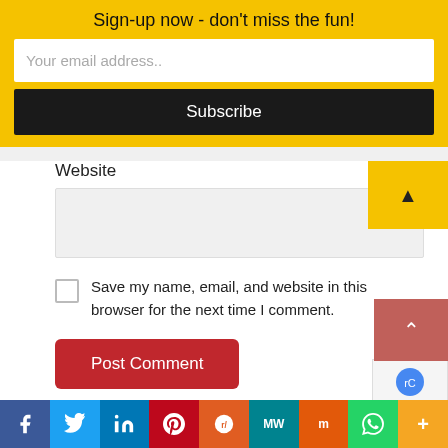Sign-up now - don't miss the fun!
Your email address..
Subscribe
Website
Save my name, email, and website in this browser for the next time I comment.
Post Comment
[Figure (infographic): Social sharing bar with icons: Facebook, Twitter, LinkedIn, Pinterest, Reddit, MW, Mix, WhatsApp, More (+)]